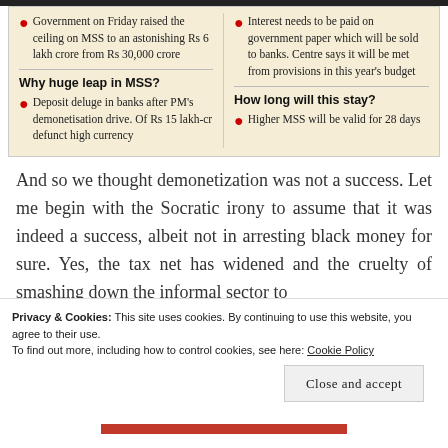Government on Friday raised the ceiling on MSS to an astonishing Rs 6 lakh crore from Rs 30,000 crore
Why huge leap in MSS?
Deposit deluge in banks after PM's demonetisation drive. Of Rs 15 lakh-cr defunct high currency
Surely, there is some cost? Interest needs to be paid on government paper which will be sold to banks. Centre says it will be met from provisions in this year's budget
How long will this stay?
Higher MSS will be valid for 28 days
And so we thought demonetization was not a success. Let me begin with the Socratic irony to assume that it was indeed a success, albeit not in arresting black money for sure. Yes, the tax net has widened and the cruelty of smashing down the informal sector to
Privacy & Cookies: This site uses cookies. By continuing to use this website, you agree to their use.
To find out more, including how to control cookies, see here: Cookie Policy
Close and accept